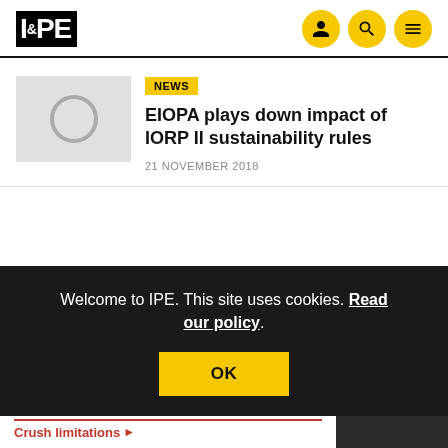IPE
[Figure (photo): Thumbnail image placeholder with circular graphic on grey background]
NEWS
EIOPA plays down impact of IORP II sustainability rules
21 NOVEMBER 2018
Welcome to IPE. This site uses cookies. Read our policy. OK
[Figure (screenshot): Advertisement: Your one-stop shop for trading Credit and Rates. Yes, Rates. Crush limitations. X MarketAxess]